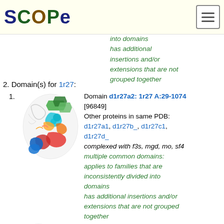SCOPe
into domains has additional insertions and/or extensions that are not grouped together
2. Domain(s) for 1r27:
1. Domain d1r27a2: 1r27 A:29-1074 [96849] Other proteins in same PDB: d1r27a1, d1r27b_, d1r27c1, d1r27d_ complexed with f3s, mgd, mo, sf4 multiple common domains: applies to families that are inconsistently divided into domains has additional insertions and/or extensions that are not grouped together
[Figure (illustration): Protein structure 3D ribbon diagram for d1r27a2, colored rainbow from blue to red showing secondary structure elements]
Domain d1r27a3: 1r27 C:29-1074